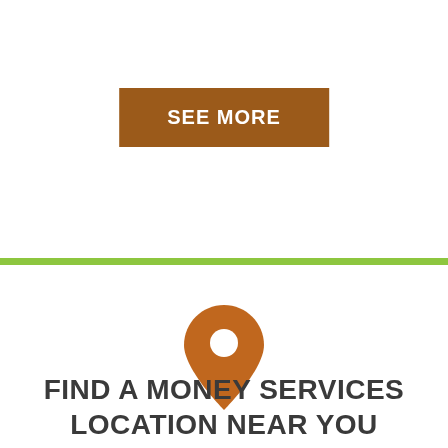SEE MORE
[Figure (illustration): Map location pin icon in brown/orange color]
FIND A MONEY SERVICES LOCATION NEAR YOU